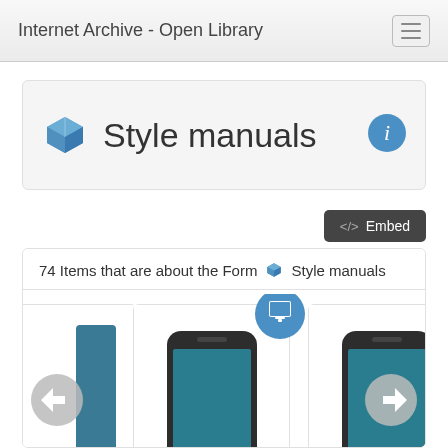Internet Archive - Open Library
Style manuals
74 Items that are about the Form Style manuals
[Figure (screenshot): Book card: A broadcast news manual of]
[Figure (screenshot): Book card: A concise manual of style]
A broadcast news manual of
A concise manual of style